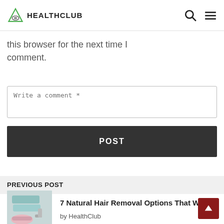HEALTHCLUB
this browser for the next time I comment.
Write a comment *
POST
PREVIOUS POST
[Figure (photo): Skin care / hair removal products including green towels and a pink soap dish]
7 Natural Hair Removal Options That Work
by HealthClub